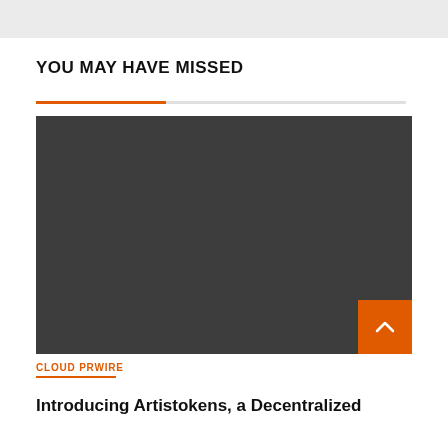YOU MAY HAVE MISSED
[Figure (photo): Dark gray placeholder image for an article thumbnail]
CLOUD PRWIRE
Introducing Artistokens, a Decentralized